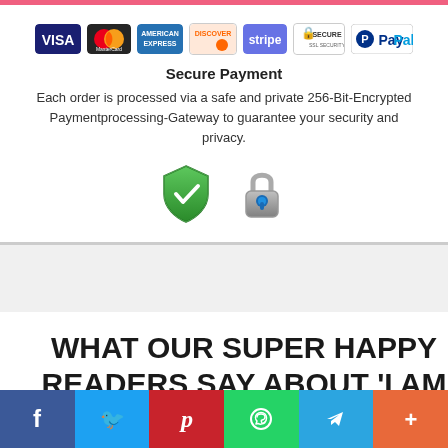[Figure (logo): Payment method logos: VISA, MasterCard, American Express, Discover, Stripe, Secure, PayPal]
Secure Payment
Each order is processed via a safe and private 256-Bit-Encrypted Paymentprocessing-Gateway to guarantee your security and privacy.
[Figure (illustration): Security icons: green shield with checkmark and padlock]
WHAT OUR SUPER HAPPY READERS SAY ABOUT 'I AM god, Ascension Guide' by
[Figure (infographic): Social media share buttons: Facebook, Twitter, Pinterest, WhatsApp, Telegram, More]